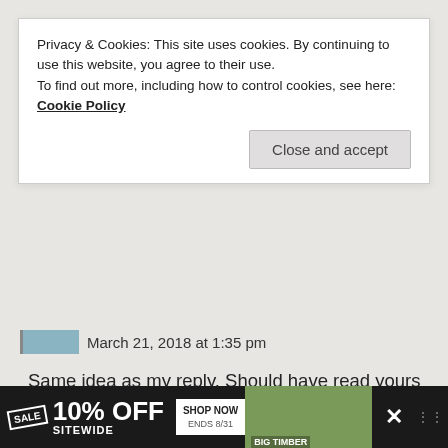Privacy & Cookies: This site uses cookies. By continuing to use this website, you agree to their use.
To find out more, including how to control cookies, see here: Cookie Policy
Close and accept
March 21, 2018 at 1:35 pm
Same idea as my reply. Should have read yours first! 🙂
★ Like
↪ Reply
JP6V
[Figure (other): Advertisement banner: SALE 10% OFF SITEWIDE, SHOP NOW, ENDS 8/31, BIG TIMBER]